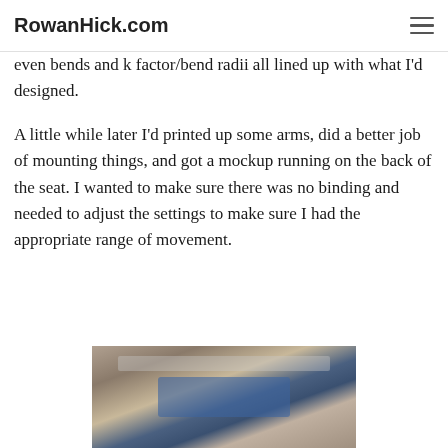RowanHick.com
even bends and k factor/bend radii all lined up with what I'd designed.
A little while later I'd printed up some arms, did a better job of mounting things, and got a mockup running on the back of the seat. I wanted to make sure there was no binding and needed to adjust the settings to make sure I had the appropriate range of movement.
[Figure (photo): A mechanical assembly showing metal components with cylindrical parts, possibly a suspension or linkage mockup, with a blue component visible in the center, photographed in a workshop setting.]